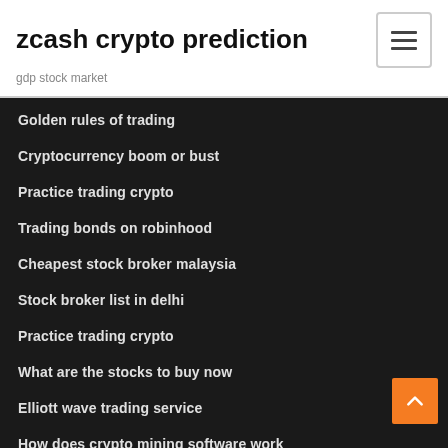zcash crypto prediction
gdp stock market
Golden rules of trading
Cryptocurrency boom or bust
Practice trading crypto
Trading bonds on robinhood
Cheapest stock broker malaysia
Stock broker list in delhi
Practice trading crypto
What are the stocks to buy now
Elliott wave trading service
How does crypto mining software work